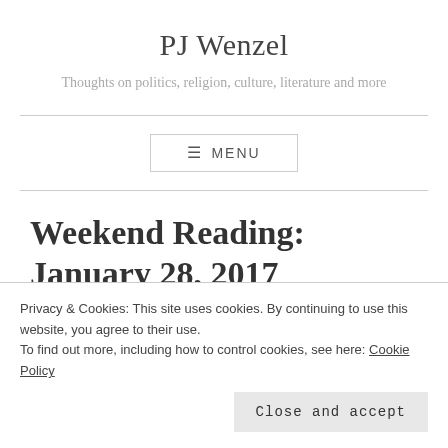PJ Wenzel
Thoughts on politics, religion, culture, literature and more
≡ MENU
Weekend Reading: January 28, 2017
Privacy & Cookies: This site uses cookies. By continuing to use this website, you agree to their use.
To find out more, including how to control cookies, see here: Cookie Policy
Close and accept